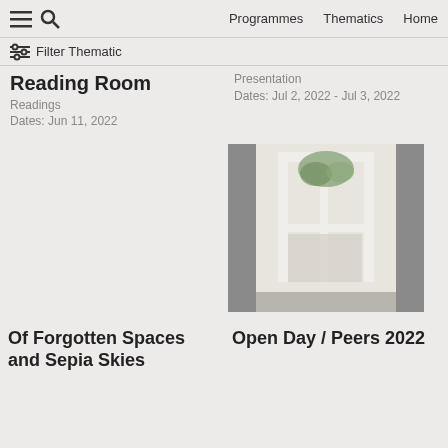Programmes  Thematics  Home
Filter Thematic
Reading Room
Readings
Dates: Jun 11, 2022
Presentation
Dates: Jul 2, 2022 - Jul 3, 2022
[Figure (photo): Interior architectural photo showing arched doorway or window with white frames and a plant, in muted tones]
Of Forgotten Spaces and Sepia Skies
Open Day / Peers 2022